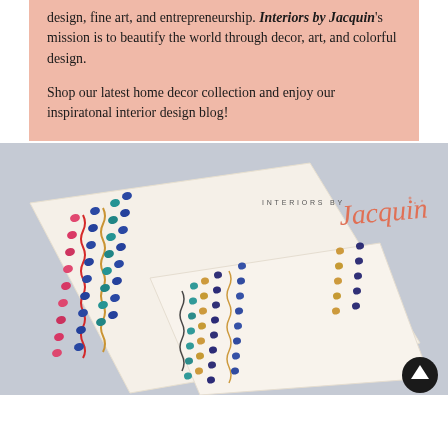design, fine art, and entrepreneurship. Interiors by Jacquin's mission is to beautify the world through decor, art, and colorful design.

Shop our latest home decor collection and enjoy our inspiratonal interior design blog!
[Figure (photo): Photo of decorative throw pillows with colorful embroidered stitch patterns in pink, blue, gold, and red on cream/ivory fabric, arranged overlapping on a light grey surface. 'INTERIORS BY Jacquin' logo in upper right of photo.]